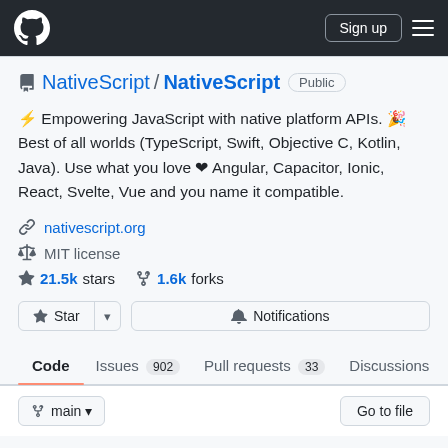GitHub header with logo, Sign up button, and menu
NativeScript / NativeScript Public
⚡ Empowering JavaScript with native platform APIs. 🎉 Best of all worlds (TypeScript, Swift, Objective C, Kotlin, Java). Use what you love ❤ Angular, Capacitor, Ionic, React, Svelte, Vue and you name it compatible.
nativescript.org
MIT license
21.5k stars   1.6k forks
Star | Notifications
Code  Issues 902  Pull requests 33  Discussions
main ▾   Go to file